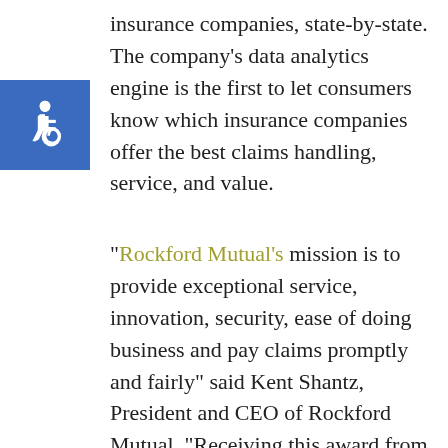[Figure (logo): Blue square accessibility icon with white wheelchair symbol]
insurance companies, state-by-state. The company's data analytics engine is the first to let consumers know which insurance companies offer the best claims handling, service, and value.
“Rockford Mutual’s mission is to provide exceptional service, innovation, security, ease of doing business and pay claims promptly and fairly” said Kent Shantz, President and CEO of Rockford Mutual. “Receiving this award from ValChoice, an analytics company, is a welcomed recognition of our dedication and